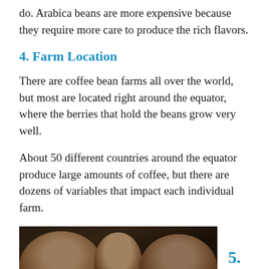do. Arabica beans are more expensive because they require more care to produce the rich flavors.
4. Farm Location
There are coffee bean farms all over the world, but most are located right around the equator, where the berries that hold the beans grow very well.
About 50 different countries around the equator produce large amounts of coffee, but there are dozens of variables that impact each individual farm.
[Figure (photo): Photo of people working, appearing to sort or process coffee beans, with dark background]
5.